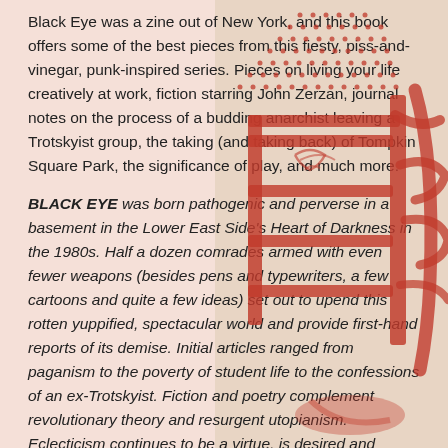Black Eye was a zine out of New York, and this book offers some of the best pieces from this fiesty, piss-and-vinegar, punk-inspired series. Pieces on living your life creatively at work, fiction starring John Zerzan, journal notes on the process of a budding anarchist leaving a Trotskyist group, the taking (and taking back) of Tompkin Square Park, the significance of play, and much more.
BLACK EYE was born pathogenic and perverse in a basement in the Lower East Side's Heart of Darkness in the 1980s. Half a dozen comrades armed with even fewer weapons (besides pens and typewriters, a few cartoons and quite a few ideas) set out to upend this rotten yuppified, spectacular world and provide first-hand reports of its demise. Initial articles ranged from paganism to the poverty of student life to the confessions of an ex-Trotskyist. Fiction and poetry complement revolutionary theory and resurgent utopianism. Eclecticism continues to be a virtue, is desired and cultivated, a political gesture itself in an era of heterogeneity. The common ingredient is liberation.
[Figure (illustration): A red stamp/seal graphic resembling a hand-drawn ladder or Chinese character overlaid on the right half of the page background.]